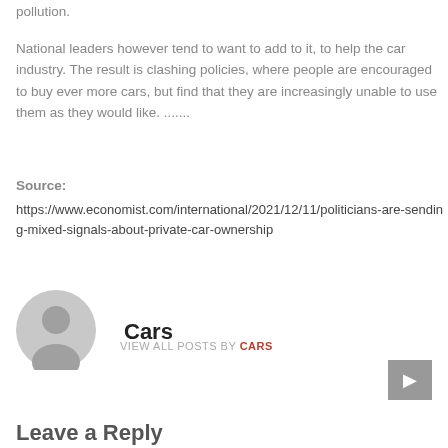pollution.
National leaders however tend to want to add to it, to help the car industry. The result is clashing policies, where people are encouraged to buy ever more cars, but find that they are increasingly unable to use them as they would like. .......
Source: https://www.economist.com/international/2021/12/11/politicians-are-sending-mixed-signals-about-private-car-ownership
[Figure (illustration): Gray avatar/profile icon placeholder image]
Cars
VIEW ALL POSTS BY CARS
Leave a Reply